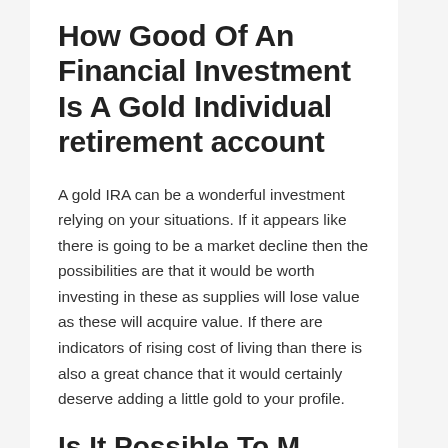How Good Of An Financial Investment Is A Gold Individual retirement account
A gold IRA can be a wonderful investment relying on your situations. If it appears like there is going to be a market decline then the possibilities are that it would be worth investing in these as supplies will lose value as these will acquire value. If there are indicators of rising cost of living than there is also a great chance that it would certainly deserve adding a little gold to your profile.
Is It Possible To M...